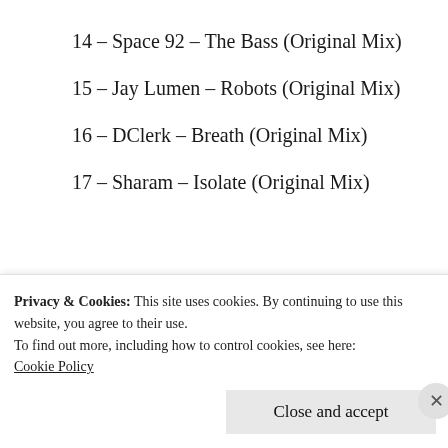14 – Space 92 – The Bass (Original Mix)
15 – Jay Lumen – Robots (Original Mix)
16 – DClerk – Breath (Original Mix)
17 – Sharam – Isolate (Original Mix)
[Figure (photo): Dark concert/DJ scene with blue lighting and crowd]
Privacy & Cookies: This site uses cookies. By continuing to use this website, you agree to their use.
To find out more, including how to control cookies, see here:
Cookie Policy
Close and accept